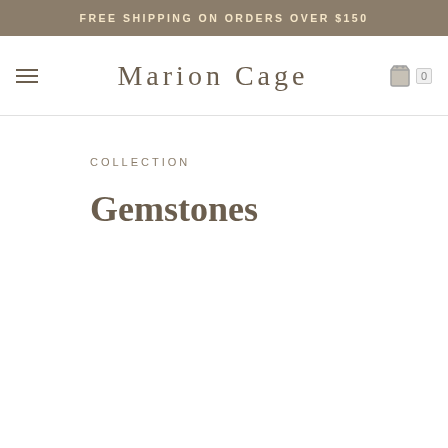FREE SHIPPING ON ORDERS OVER $150
Marion Cage
COLLECTION
Gemstones